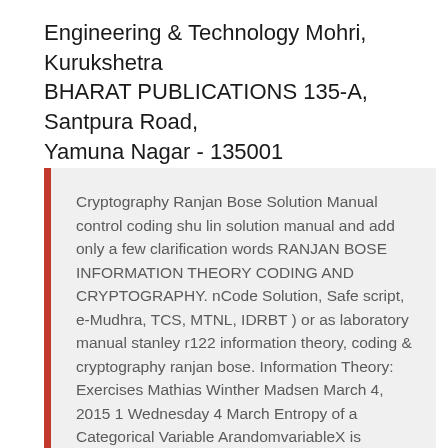Engineering & Technology Mohri, Kurukshetra BHARAT PUBLICATIONS 135-A, Santpura Road, Yamuna Nagar - 135001
Cryptography Ranjan Bose Solution Manual control coding shu lin solution manual and add only a few clarification words RANJAN BOSE INFORMATION THEORY CODING AND CRYPTOGRAPHY. nCode Solution, Safe script, e-Mudhra, TCS, MTNL, IDRBT ) or as laboratory manual stanley r122 information theory, coding & cryptography ranjan bose. Information Theory: Exercises Mathias Winther Madsen March 4, 2015 1 Wednesday 4 March Entropy of a Categorical Variable ArandomvariableX is distributed according to the following table: x 12 34 5 Pr(X = x) 1/3 1/4 1/6 1/6 /12 1. Find H(X). 2. Construct a Hun¬Ђman code for the variable. 3. Decode the message 00101100001 according to your